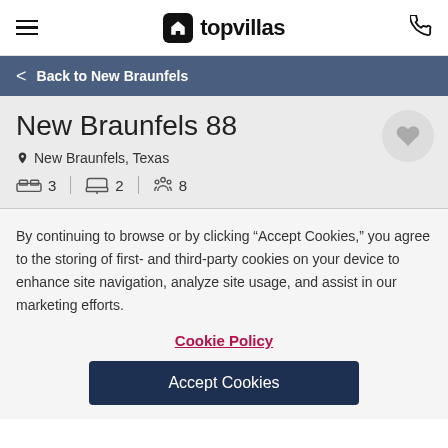topvillas
Back to New Braunfels
New Braunfels 88
New Braunfels, Texas
3  |  2  |  8
By continuing to browse or by clicking “Accept Cookies,” you agree to the storing of first- and third-party cookies on your device to enhance site navigation, analyze site usage, and assist in our marketing efforts.
Cookie Policy
Accept Cookies